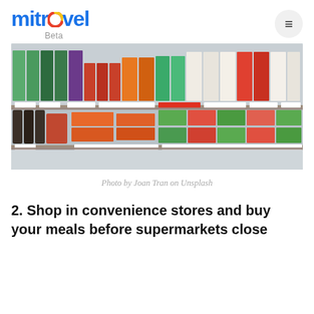mitravel Beta
[Figure (photo): Shelves of a Japanese convenience store or supermarket stocked with various packaged drinks, juices, and food items in colorful packaging with Japanese text and price tags.]
Photo by Joan Tran on Unsplash
2. Shop in convenience stores and buy your meals before supermarkets close